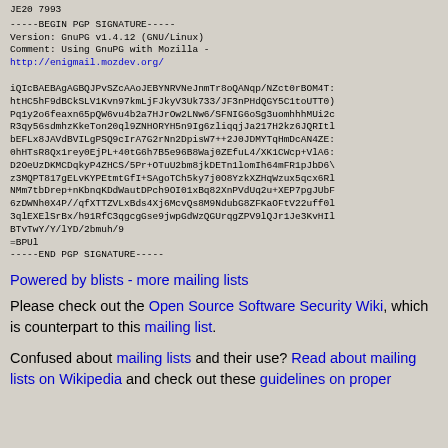JE20 7993
-----BEGIN PGP SIGNATURE-----
Version: GnuPG v1.4.12 (GNU/Linux)
Comment: Using GnuPG with Mozilla -
http://enigmail.mozdev.org/

iQIcBAEBAgAGBQJPvSZcAAoJEBYNRVNeJnmTr8oQANqp/NZct0rBOM4T...
htHC5hF9dBCkSLV1Kvn97kmLjFJkyV3Uk733/JF3nPHdQGY5C1toUTT0...
Pq1y2o6feaxn65pQW6vu4b2a7HJrOw2LNw6/SFNIG6oSg3uomhhhMUi2...
R3qy56sdmhzKkeTon20ql9ZNHORYH5n9Ig6zliqqjJa217H2kz6JQRIt...
bEFLx8JAVdBVILgPSQ9cIrA7G2rNn2DpisW7++2J0JDMYTqHmDcAN4ZE...
0hHTsR8Qx1rey0EjPL+40tG6h7B5e96B8Waj0ZEfuL4/XK1CWcp+VlA6...
D2OeUzDKMCDqkyP4ZHCS/5Pr+OTuU2bm8jkDETn1lomIh64mFR1pJbD6...
z3MQPT817gELvKYPEtmtGfI+SAgoTCh5ky7j0O8YzkXZHqWzux5qcx6R...
NMm7tbDrep+nKbnqKDdWautDPch9OI01xBq82XnPVdUq2u+XEP7pgJUb...
6zDWNh0X4P//qfXTTZVLxBds4Xj6McvQs8M9NdubG8ZFKaOFtV22uff0...
3qlEXElSrBx/h91RfC3qgcgGse9jwpGdWzQGUrqgZPV9lQJr1Je3KvHI...
BTvTwY/Y/lYD/2bmuh/9
=BPUl
-----END PGP SIGNATURE-----
Powered by blists - more mailing lists
Please check out the Open Source Software Security Wiki, which is counterpart to this mailing list.
Confused about mailing lists and their use? Read about mailing lists on Wikipedia and check out these guidelines on proper